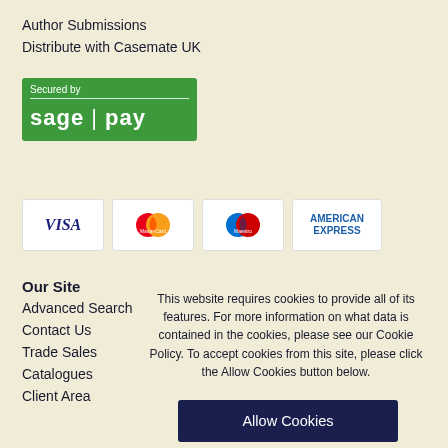Author Submissions
Distribute with Casemate UK
[Figure (logo): Sage Pay secure payment logo with green background showing 'Secured by' text and 'sage | pay' branding]
[Figure (logo): Payment card logos: VISA, MasterCard, Maestro, American Express]
Our Site
Advanced Search
Contact Us
Trade Sales
Catalogues
Client Area
This website requires cookies to provide all of its features. For more information on what data is contained in the cookies, please see our Cookie Policy. To accept cookies from this site, please click the Allow Cookies button below.
Allow Cookies